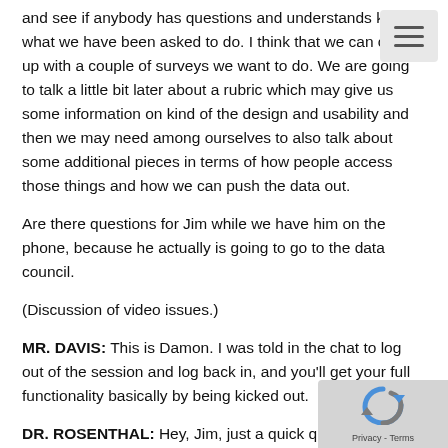and see if anybody has questions and understands kind of what we have been asked to do. I think that we can come up with a couple of surveys we want to do. We are going to talk a little bit later about a rubric which may give us some information on kind of the design and usability and then we may need among ourselves to also talk about some additional pieces in terms of how people access those things and how we can push the data out.
Are there questions for Jim while we have him on the phone, because he actually is going to go to the data council.
(Discussion of video issues.)
MR. DAVIS: This is Damon. I was told in the chat to log out of the session and log back in, and you'll get your full functionality basically by being kicked out.
DR. ROSENTHAL: Hey, Jim, just a quick question to follow up on Vickie's question. Are you limited to these four means